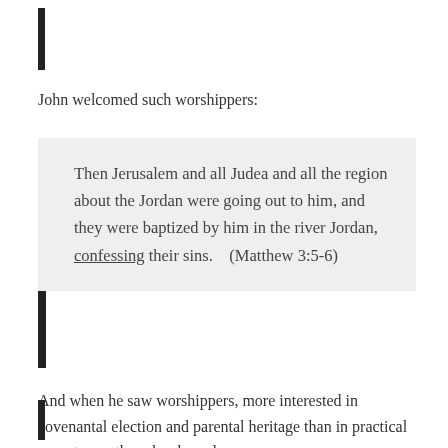John welcomed such worshippers:
Then Jerusalem and all Judea and all the region about the Jordan were going out to him, and they were baptized by him in the river Jordan, confessing their sins.    (Matthew 3:5-6)
And when he saw worshippers, more interested in covenantal election and parental heritage than in practical repentance, these he shooed away: